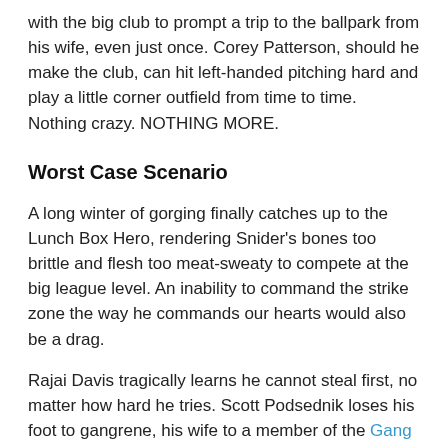with the big club to prompt a trip to the ballpark from his wife, even just once. Corey Patterson, should he make the club, can hit left-handed pitching hard and play a little corner outfield from time to time. Nothing crazy. NOTHING MORE.
Worst Case Scenario
A long winter of gorging finally catches up to the Lunch Box Hero, rendering Snider's bones too brittle and flesh too meat-sweaty to compete at the big league level. An inability to command the strike zone the way he commands our hearts would also be a drag.
Rajai Davis tragically learns he cannot steal first, no matter how hard he tries. Scott Podsednik loses his foot to gangrene, his wife to a member of the Gang Green. Somebody hits Corey Patterson lead-off.
Realistic Season Goals aka Results We Can Live With